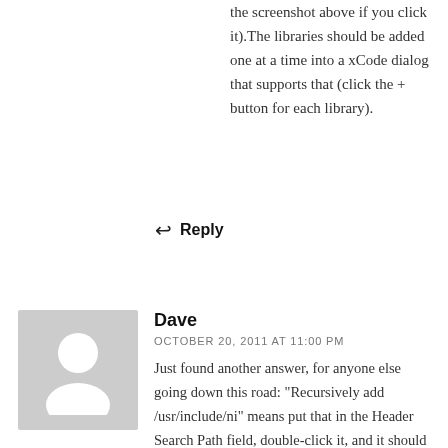the screenshot above if you click it).The libraries should be added one at a time into a xCode dialog that supports that (click the + button for each library).
↩ Reply
[Figure (illustration): Gray avatar placeholder icon showing a person silhouette]
Dave
OCTOBER 20, 2011 AT 11:00 PM
Just found another answer, for anyone else going down this road: "Recursively add /usr/include/ni" means put that in the Header Search Path field, double-click it, and it should pop up a dialog with 'recursive' as an option. It results in putting /** at the end of the string. So maybe you can just include that rather than double-clicking.